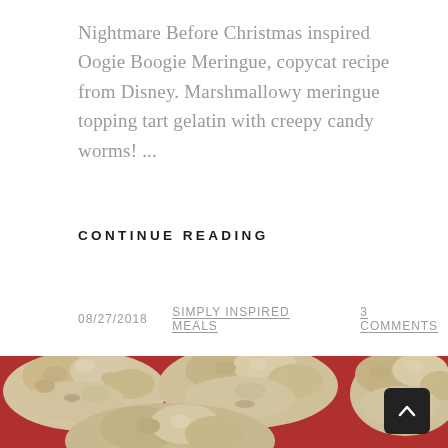Nightmare Before Christmas inspired Oogie Boogie Meringue, copycat recipe from Disney. Marshmallowy meringue topping tart gelatin with creepy candy worms! ...
CONTINUE READING
08/27/2018  SIMPLY INSPIRED MEALS  3 COMMENTS
[Figure (photo): Close-up photo of pale, lumpy meringue cookies on a red surface, photographed from a low angle showing multiple pieces]